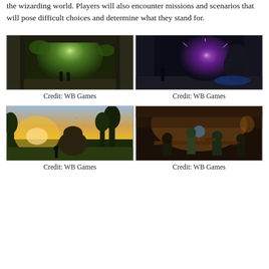the wizarding world. Players will also encounter missions and scenarios that will pose difficult choices and determine what they stand for.
[Figure (photo): Two robed figures walking through ancient ruins with green magical light ahead]
Credit: WB Games
[Figure (photo): Dark cave scene with a purple magical burst and troll-like creature]
Credit: WB Games
[Figure (photo): A small figure in a vast outdoor landscape at golden hour with a large creature]
Credit: WB Games
[Figure (photo): Students gathered in a warm-lit classroom around a table with globes and books]
Credit: WB Games